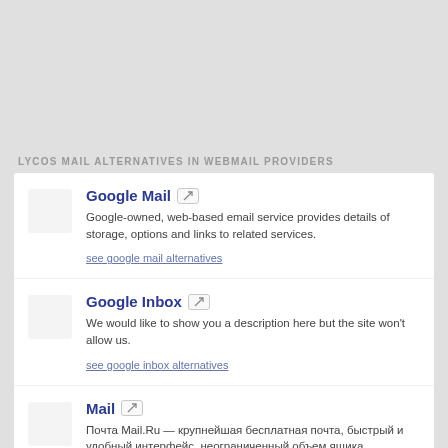LYCOS MAIL ALTERNATIVES IN WEBMAIL PROVIDERS
Google Mail — Google-owned, web-based email service provides details of storage, options and links to related services. see google mail alternatives
Google Inbox — We would like to show you a description here but the site won't allow us. see google inbox alternatives
Mail — Почта Mail.Ru — крупнейшая бесплатная почта, быстрый и удобный интерфейс, неограниченный объем ящика, надежная защита от спама и вирусов, ... see mail alternatives
Gmx